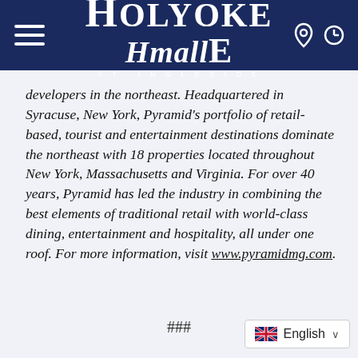Holyoke Mall at Ingleside
developers in the northeast. Headquartered in Syracuse, New York, Pyramid's portfolio of retail-based, tourist and entertainment destinations dominate the northeast with 18 properties located throughout New York, Massachusetts and Virginia. For over 40 years, Pyramid has led the industry in combining the best elements of traditional retail with world-class dining, entertainment and hospitality, all under one roof. For more information, visit www.pyramidmg.com.
###
English